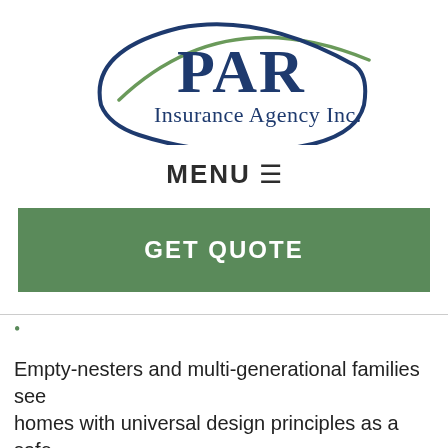[Figure (logo): PAR Insurance Agency Inc. logo with dark blue oval arc and serif text]
MENU ☰
GET QUOTE
Empty-nesters and multi-generational families see homes with universal design principles as a safe